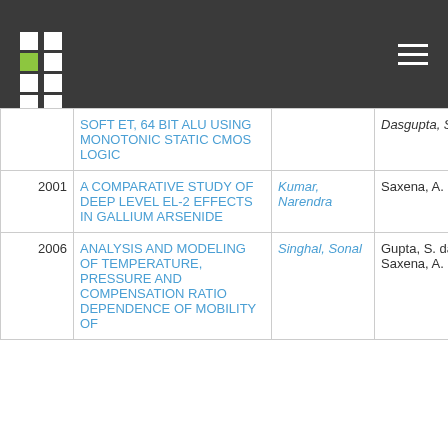Navigation header with logo and menu
| Year | Title | Author | Supervisor | Type |
| --- | --- | --- | --- | --- |
|  | SOFT ET, 64 BIT ALU USING MONOTONIC STATIC CMOS LOGIC |  | Dasgupta, S. |  |
| 2001 | A COMPARATIVE STUDY OF DEEP LEVEL EL-2 EFFECTS IN GALLIUM ARSENIDE | Kumar, Narendra | Saxena, A. K. | M.Tech Disserta |
| 2006 | ANALYSIS AND MODELING OF TEMPERATURE, PRESSURE AND COMPENSATION RATIO DEPENDENCE OF MOBILITY OF | Singhal, Sonal | Gupta, S. das; Saxena, A. K. | M.Tech Disserta |